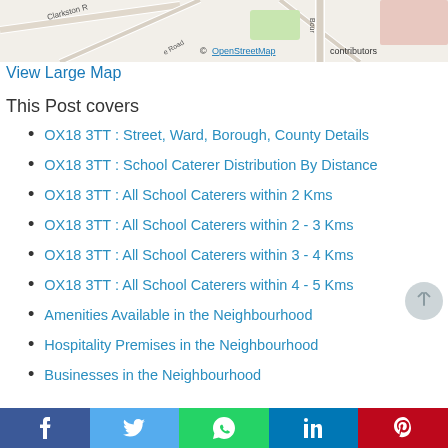[Figure (map): OpenStreetMap showing local area with road names including Clarkston Road, with attribution to OpenStreetMap contributors]
View Large Map
This Post covers
OX18 3TT : Street, Ward, Borough, County Details
OX18 3TT : School Caterer Distribution By Distance
OX18 3TT : All School Caterers within 2 Kms
OX18 3TT : All School Caterers within 2 - 3 Kms
OX18 3TT : All School Caterers within 3 - 4 Kms
OX18 3TT : All School Caterers within 4 - 5 Kms
Amenities Available in the Neighbourhood
Hospitality Premises in the Neighbourhood
Businesses in the Neighbourhood
Property Details in the Neighbourhood
Vital Facts of the Neighbourhood